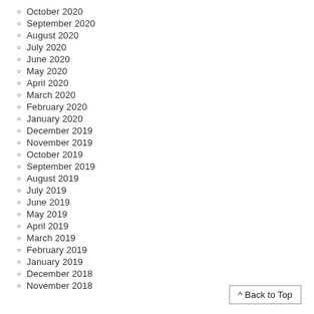October 2020
September 2020
August 2020
July 2020
June 2020
May 2020
April 2020
March 2020
February 2020
January 2020
December 2019
November 2019
October 2019
September 2019
August 2019
July 2019
June 2019
May 2019
April 2019
March 2019
February 2019
January 2019
December 2018
November 2018
^ Back to Top